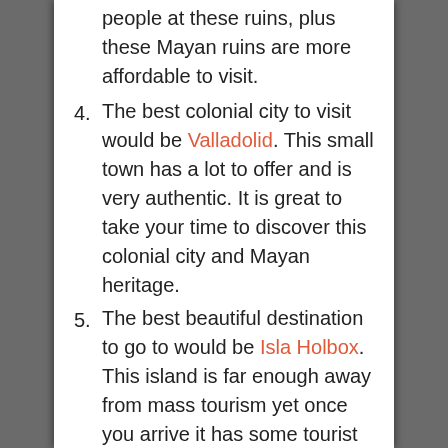people at these ruins, plus these Mayan ruins are more affordable to visit.
4. The best colonial city to visit would be Valladolid. This small town has a lot to offer and is very authentic. It is great to take your time to discover this colonial city and Mayan heritage.
5. The best beautiful destination to go to would be Isla Holbox. This island is far enough away from mass tourism yet once you arrive it has some tourist infrastructure. It still retains that chill vibe and stunning beauty on a sunny day.